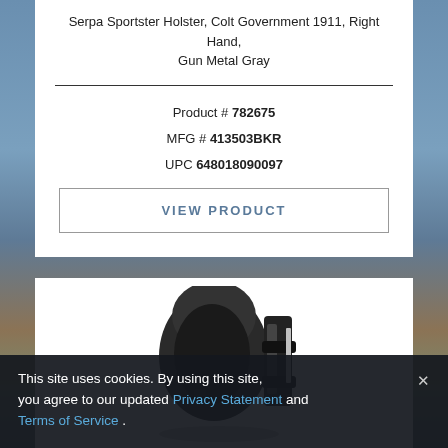Serpa Sportster Holster, Colt Government 1911, Right Hand, Gun Metal Gray
Product # 782675
MFG # 413503BKR
UPC 648018090097
VIEW PRODUCT
[Figure (photo): Black Serpa Sportster holster product photo]
This site uses cookies. By using this site, you agree to our updated Privacy Statement and Terms of Service .